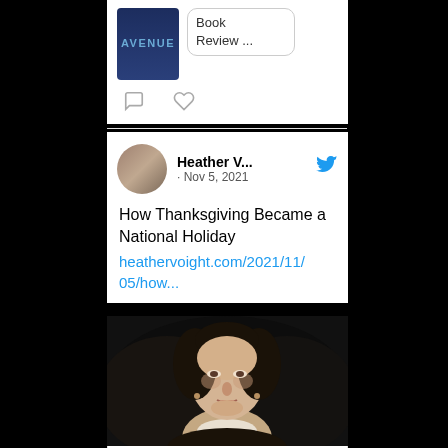[Figure (screenshot): Partial top tweet showing book thumbnail with 'AVENUE' text and 'Book Review ...' text, with comment and like icons below]
[Figure (screenshot): Twitter post by Heather V... dated Nov 5, 2021 about 'How Thanksgiving Became a National Holiday' with link heathervoight.com/2021/11/05/how...]
[Figure (photo): Dark portrait painting of a woman with dark hair from historical era]
heathervoight.com
How Thanksgiving Became a National Holiday